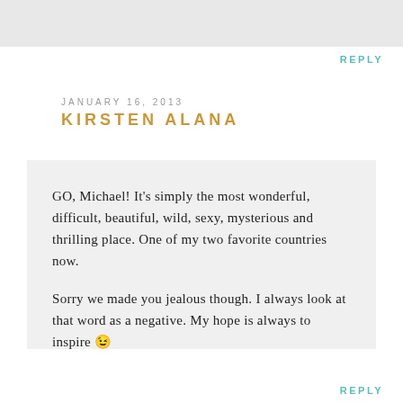REPLY
JANUARY 16, 2013
KIRSTEN ALANA
GO, Michael! It’s simply the most wonderful, difficult, beautiful, wild, sexy, mysterious and thrilling place. One of my two favorite countries now.

Sorry we made you jealous though. I always look at that word as a negative. My hope is always to inspire 😉
REPLY